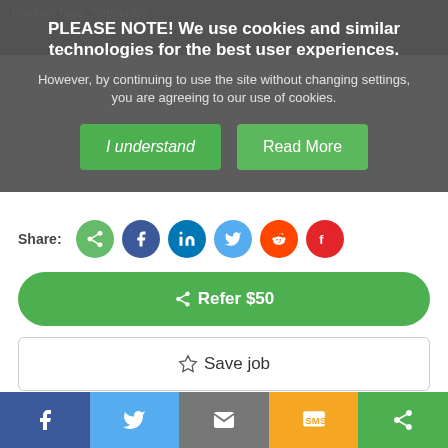PLEASE NOTE! We use cookies and similar technologies for the best user experiences.
However, by continuing to use the site without changing settings, you are agreeing to our use of cookies.
I understand
Read More
Share:
[Figure (other): Social share icons: share (green), Facebook (blue), LinkedIn (blue), Twitter (light blue), Reddit (orange), Flipboard (red)]
◄Refer $50
☆Save job
📄 Free resume review
Apply Now
[Figure (other): Bottom navigation bar with Facebook, Twitter, Email, SMS, and Share icons]